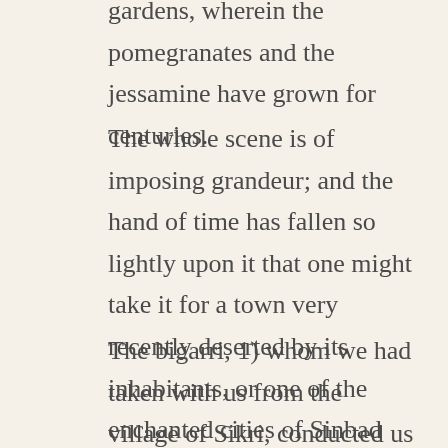gardens, wherein the pomegranates and the jessamine have grown for centuries.
The whole scene is of imposing grandeur; and the hand of time has fallen so lightly upon it that one might take it for a town very recently deserted by its inhabitants, or one of the enchanted cities of Sinbad the Sailor.
The bigarri, 1) whom we had taken with us from the village of Sikri, conducted us to a bungalow which is maintained by the English Government for the accommodation of travellers. This